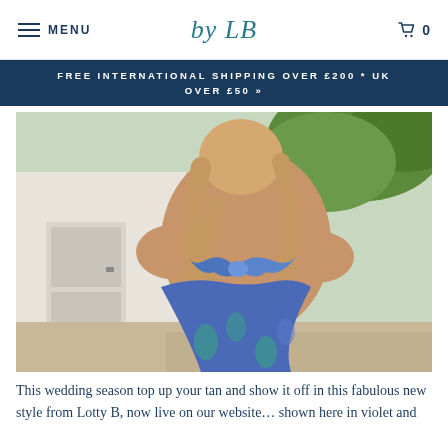MENU | by LB | 0
FREE INTERNATIONAL SHIPPING OVER £200 * UK OVER £50 »
[Figure (photo): Woman photographed from behind wearing a blue and teal tropical print halter-neck dress with a bow tie at the neck, showing an open back. She has blonde hair and is standing outdoors near a white door with greenery in the background.]
This wedding season top up your tan and show it off in this fabulous new style from Lotty B, now live on our website... shown here in violet and